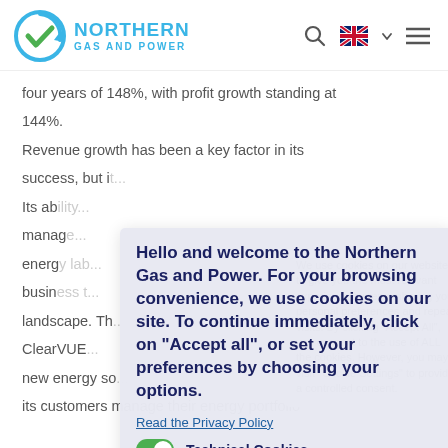[Figure (logo): Northern Gas and Power logo with circular checkmark icon in blue and green, next to text 'NORTHERN GAS AND POWER' in cyan/blue]
four years of 148%, with profit growth standing at 144%.
Revenue growth has been a key factor in its success, but it...
Its ab... management... energy lab... business t... landscape. Th...
ClearVUE... new energy so... its customers manage their energy portfolio...
Hello and welcome to the Northern Gas and Power. For your browsing convenience, we use cookies on our site. To continue immediately, click on "Accept all", or set your preferences by choosing your options.
Read the Privacy Policy
Technical Cookies
Audience Measurement Cookies
Social Media Cookies
Save Settings
Cookie Settings
Allow All
We use cookies on our website to give you the most relevant experience by remembering your personal preferences and repeat visits. By clicking "Accept All", you consent to the use of ALL the cookies. However, you may visit "Cookie Settings" to provide a controlled consent.